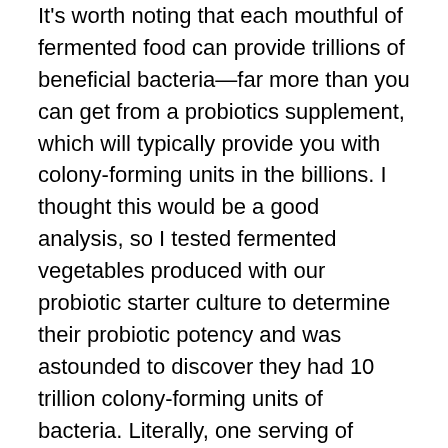It's worth noting that each mouthful of fermented food can provide trillions of beneficial bacteria—far more than you can get from a probiotics supplement, which will typically provide you with colony-forming units in the billions. I thought this would be a good analysis, so I tested fermented vegetables produced with our probiotic starter culture to determine their probiotic potency and was astounded to discover they had 10 trillion colony-forming units of bacteria. Literally, one serving of vegetables was equal to an entire bottle of a high potency probiotic!
Fermented foods also give you a wider variety of beneficial bacteria, so all in all, it's a more cost effective alternative. Fermenting your own foods can provide even greater savings, and is actually easier than you might think. To learn more, please listen to my interview with Caroline Barringer, a Nutritional Therapy Practitioner (NTP) who has been involved with nutrition for about 20